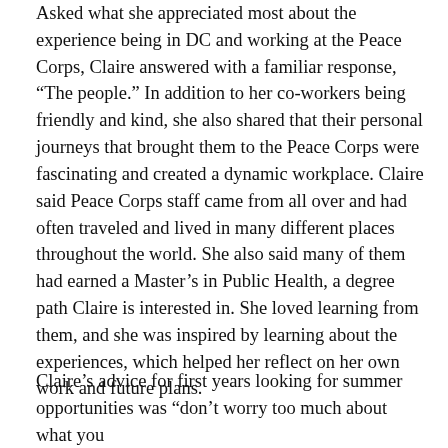Asked what she appreciated most about the experience being in DC and working at the Peace Corps, Claire answered with a familiar response, “The people.” In addition to her co-workers being friendly and kind, she also shared that their personal journeys that brought them to the Peace Corps were fascinating and created a dynamic workplace. Claire said Peace Corps staff came from all over and had often traveled and lived in many different places throughout the world. She also said many of them had earned a Master’s in Public Health, a degree path Claire is interested in. She loved learning from them, and she was inspired by learning about the experiences, which helped her reflect on her own work and future plans.
Claire’s advice for first years looking for summer opportunities was “don’t worry too much about what you